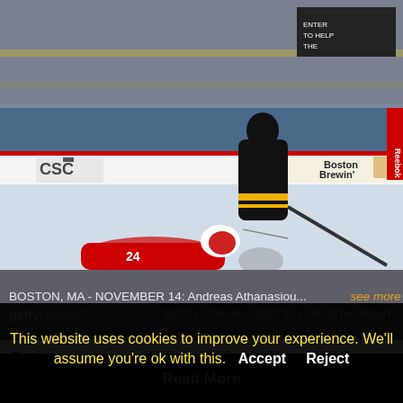[Figure (photo): Hockey game photo: Boston Bruins player skating with puck while Detroit Red Wings player lies on the ice. Arena crowd visible in background. Rinkside advertising shows 'Boston Brewin'' and Reebok logos.]
BOSTON, MA - NOVEMBER 14: Andreas Athanasiou... see more
gettyimages® | Getty Images Sport | Maddie Meyer
Good morning, everyone! What a weird and wild weekend of hockey. First the Bruins caused the Tree Cat Head Things to fire their coach. Then Marchand scored against the Red Wings 8 seconds into the game, setting a franchise record for scoring the fastest goal. But then the Magic...
This website uses cookies to improve your experience. We'll assume you're ok with this.  Accept  Reject
Read More